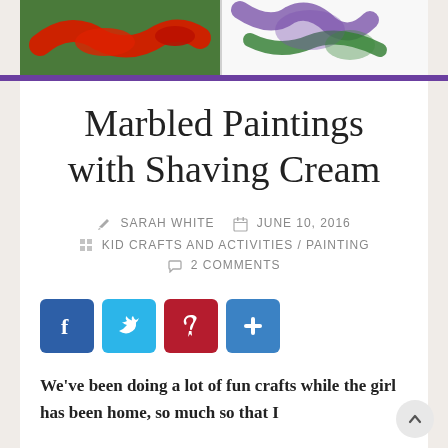[Figure (photo): Two-panel image at top: left shows red paint splattered on green surface, right shows purple/green paint on white paper]
Marbled Paintings with Shaving Cream
SARAH WHITE   JUNE 10, 2016
KID CRAFTS AND ACTIVITIES / PAINTING
2 COMMENTS
[Figure (infographic): Social sharing buttons: Facebook (blue), Twitter (light blue), Pinterest (dark red), Share (blue)]
We've been doing a lot of fun crafts while the girl has been home, so much so that I